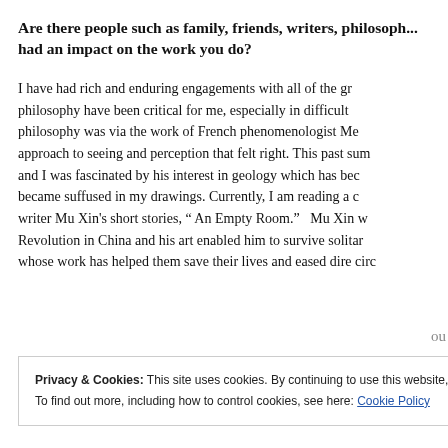Are there people such as family, friends, writers, philosophers, or others who have had an impact on the work you do?
I have had rich and enduring engagements with all of the groups you mention and philosophy have been critical for me, especially in difficult times. My entry into philosophy was via the work of French phenomenologist Me... approach to seeing and perception that felt right. This past sum... and I was fascinated by his interest in geology which has beco... became suffused in my drawings. Currently, I am reading a co... writer Mu Xin's short stories, " An Empty Room." Mu Xin w... Revolution in China and his art enabled him to survive solitary... whose work has helped them save their lives and eased dire circ...
Privacy & Cookies: This site uses cookies. By continuing to use this website, you agree to their use.
To find out more, including how to control cookies, see here: Cookie Policy